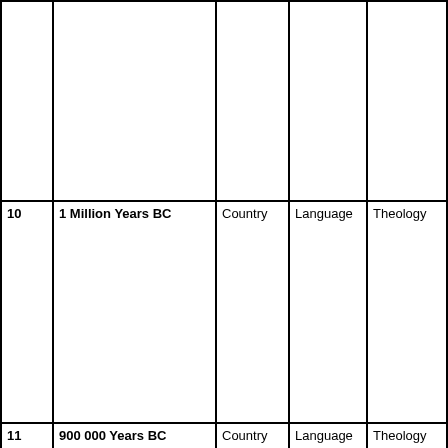|  |  |  |  |  |  |
| 10 | 1 Million Years BC | Country | Language | Theology |  |
| 11 | 900 000 Years BC | Country | Language | Theology |  |